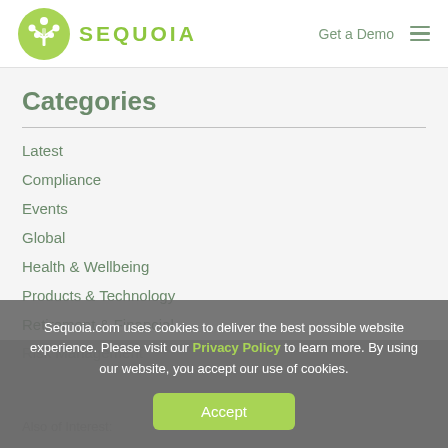SEQUOIA | Get a Demo
Categories
Latest
Compliance
Events
Global
Health & Wellbeing
Products & Technology
Retirement & Financial
Risk Management
Sequoia.com uses cookies to deliver the best possible website experience. Please visit our Privacy Policy to learn more. By using our website, you accept our use of cookies.
Also of Interest: